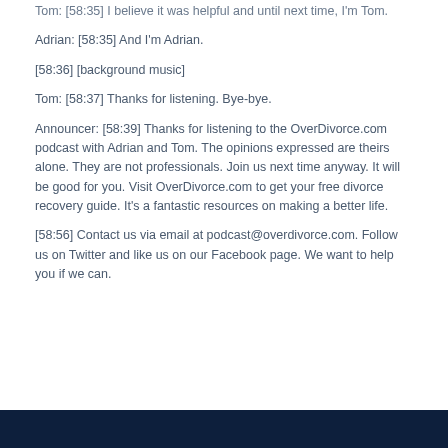Tom: [58:35] I believe it was helpful and until next time, I'm Tom.
Adrian: [58:35] And I'm Adrian.
[58:36] [background music]
Tom: [58:37] Thanks for listening. Bye-bye.
Announcer: [58:39] Thanks for listening to the OverDivorce.com podcast with Adrian and Tom. The opinions expressed are theirs alone. They are not professionals. Join us next time anyway. It will be good for you. Visit OverDivorce.com to get your free divorce recovery guide. It’s a fantastic resources on making a better life.
[58:56] Contact us via email at podcast@overdivorce.com. Follow us on Twitter and like us on our Facebook page. We want to help you if we can.